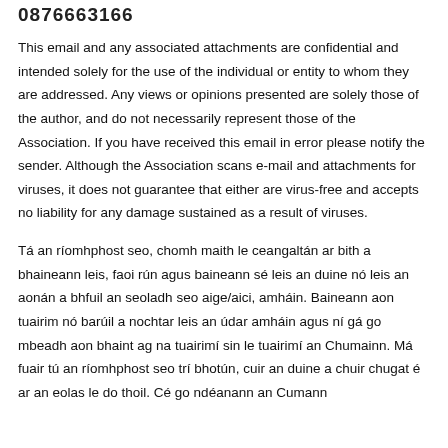0876663166
This email and any associated attachments are confidential and intended solely for the use of the individual or entity to whom they are addressed. Any views or opinions presented are solely those of the author, and do not necessarily represent those of the Association. If you have received this email in error please notify the sender. Although the Association scans e-mail and attachments for viruses, it does not guarantee that either are virus-free and accepts no liability for any damage sustained as a result of viruses.
Tá an ríomhphost seo, chomh maith le ceangaltán ar bith a bhaineann leis, faoi rún agus baineann sé leis an duine nó leis an aonán a bhfuil an seoladh seo aige/aici, amháin. Baineann aon tuairim nó barúil a nochtar leis an údar amháin agus ní gá go mbeadh aon bhaint ag na tuairimí sin le tuairimí an Chumainn. Má fuair tú an ríomhphost seo trí bhotún, cuir an duine a chuir chugat é ar an eolas le do thoil. Cé go ndéanann an Cumann